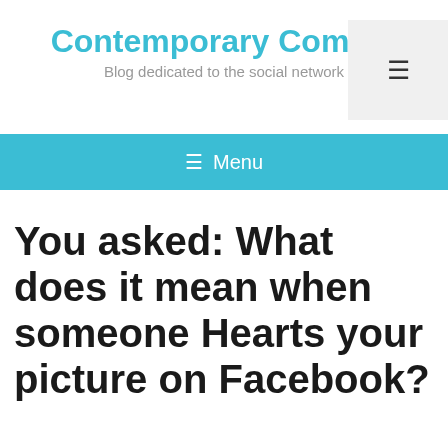Contemporary Commu
Blog dedicated to the social network
≡ Menu
You asked: What does it mean when someone Hearts your picture on Facebook?